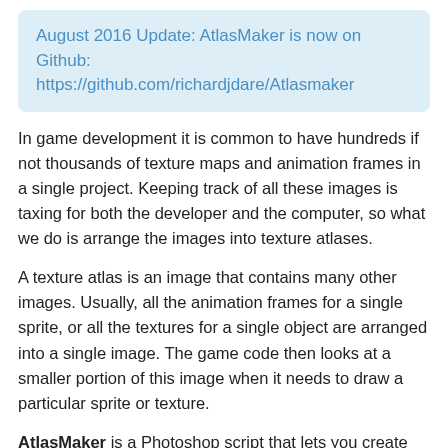August 2016 Update: AtlasMaker is now on Github: https://github.com/richardjdare/Atlasmaker
In game development it is common to have hundreds if not thousands of texture maps and animation frames in a single project. Keeping track of all these images is taxing for both the developer and the computer, so what we do is arrange the images into texture atlases.
A texture atlas is an image that contains many other images. Usually, all the animation frames for a single sprite, or all the textures for a single object are arranged into a single image. The game code then looks at a smaller portion of this image when it needs to draw a particular sprite or texture.
AtlasMaker is a Photoshop script that lets you create these atlases inside Photoshop. It takes a